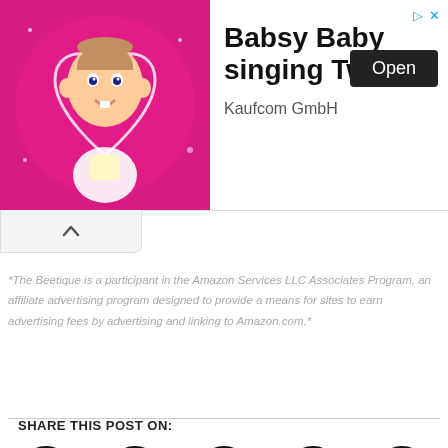[Figure (other): Advertisement banner for Babsy Baby app showing animated baby character with pink heart background, title 'Babsy Baby singing Twinkle', company 'Kaufcom GmbH', and Open button]
*The Beetique is a participant in the Amazon Services LLC Associates Program, an affiliate advertising program designed to provide a means for sites to earn advertising fees by advertising and linking to Amazon.com.*
SHARE THIS POST ON:
[Figure (other): Social media share icons: facebook, Pinterest, twitter, Linkedin, google+]